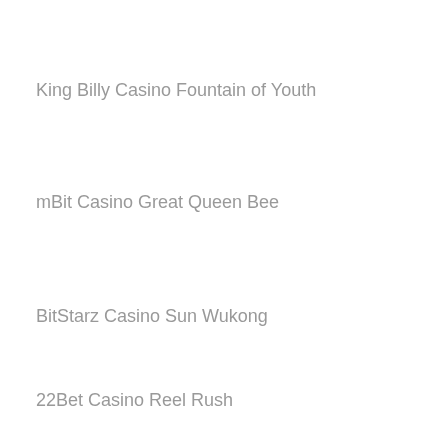King Billy Casino Fountain of Youth
mBit Casino Great Queen Bee
BitStarz Casino Sun Wukong
22Bet Casino Reel Rush